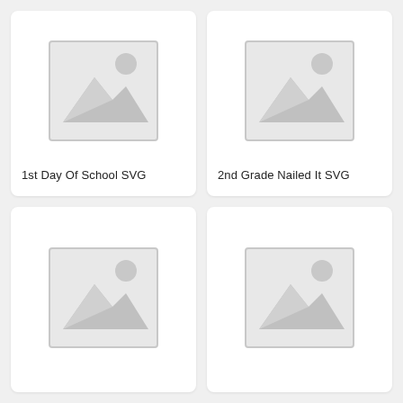[Figure (illustration): Placeholder image with mountain and sun icon]
1st Day Of School SVG
[Figure (illustration): Placeholder image with mountain and sun icon]
2nd Grade Nailed It SVG
[Figure (illustration): Placeholder image with mountain and sun icon]
[Figure (illustration): Placeholder image with mountain and sun icon]